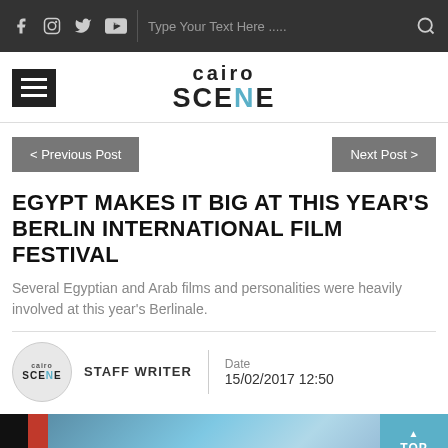cairo SCENE — social icons, search bar
[Figure (logo): CairoScene logo with hamburger menu]
< Previous Post
Next Post >
EGYPT MAKES IT BIG AT THIS YEAR'S BERLIN INTERNATIONAL FILM FESTIVAL
Several Egyptian and Arab films and personalities were heavily involved at this year's Berlinale.
STAFF WRITER
Date
15/02/2017 12:50
[Figure (photo): Partial photo at bottom showing dark and blue tones]